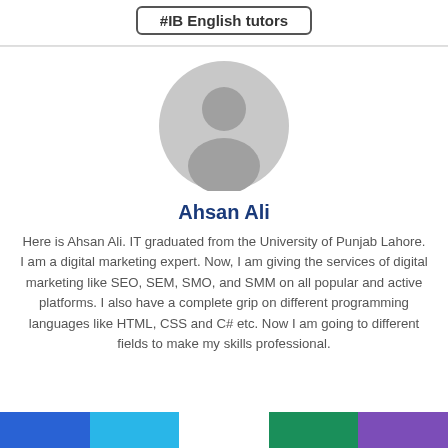#IB English tutors
[Figure (illustration): Gray placeholder avatar icon showing a silhouetted person with a circular head and shoulders]
Ahsan Ali
Here is Ahsan Ali. IT graduated from the University of Punjab Lahore. I am a digital marketing expert. Now, I am giving the services of digital marketing like SEO, SEM, SMO, and SMM on all popular and active platforms. I also have a complete grip on different programming languages like HTML, CSS and C# etc. Now I am going to different fields to make my skills professional.
[Figure (infographic): A horizontal color bar with five segments: blue, light blue, green, dark blue/teal, and purple]